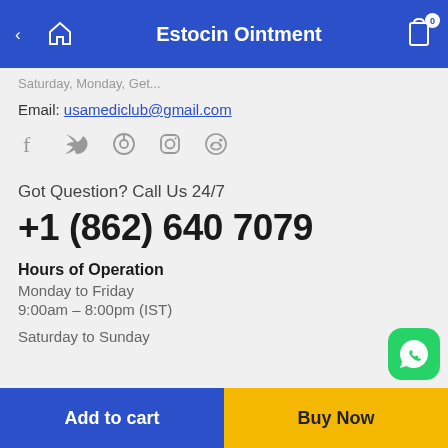Estocin Ointment
Saturday, Monday, Get...
Email: usamediclub@gmail.com
[Figure (other): Social media icons: Facebook, Twitter, Pinterest, Instagram, Reddit]
Got Question? Call Us 24/7
+1 (862) 640 7079
Hours of Operation
Monday to Friday
9:00am – 8:00pm (IST)
Saturday to Sunday
[Figure (other): WhatsApp floating button (green rounded square with phone icon)]
Add to cart
Buy Now